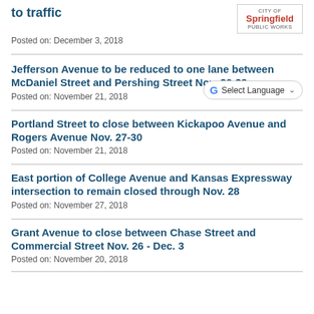to traffic
Posted on: December 3, 2018
Jefferson Avenue to be reduced to one lane between McDaniel Street and Pershing Street Nov. 26-29
Posted on: November 21, 2018
Portland Street to close between Kickapoo Avenue and Rogers Avenue Nov. 27-30
Posted on: November 21, 2018
East portion of College Avenue and Kansas Expressway intersection to remain closed through Nov. 28
Posted on: November 27, 2018
Grant Avenue to close between Chase Street and Commercial Street Nov. 26 - Dec. 3
Posted on: November 20, 2018